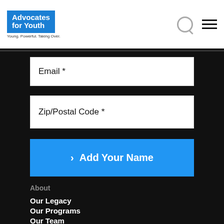Advocates for Youth - Young. Powerful. Taking Over.
Email *
Zip/Postal Code *
> Add Your Name
About
Our Legacy
Our Programs
Our Team
Job Opportunities
Campaigns